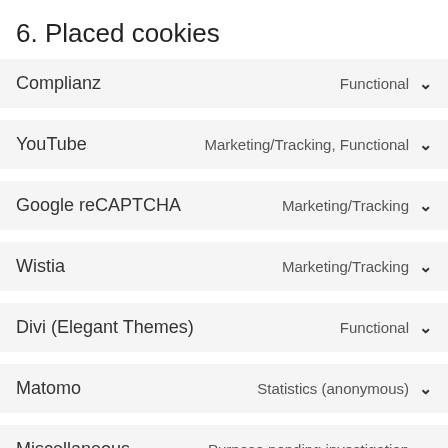6. Placed cookies
Complianz – Functional
YouTube – Marketing/Tracking, Functional
Google reCAPTCHA – Marketing/Tracking
Wistia – Marketing/Tracking
Divi (Elegant Themes) – Functional
Matomo – Statistics (anonymous)
Miscellaneous – Purpose pending investigation